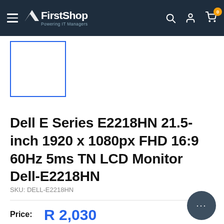FirstShop — Powering IT Managers navigation bar
[Figure (screenshot): Product thumbnail placeholder — empty white box with blue border]
Dell E Series E2218HN 21.5-inch 1920 x 1080px FHD 16:9 60Hz 5ms TN LCD Monitor Dell-E2218HN
SKU: DELL-E2218HN
Price: R 2,030 Includes VAT